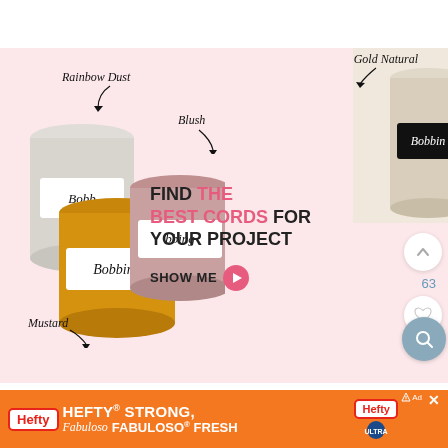[Figure (advertisement): Bobbiny macrame cord advertisement showing colored yarn spools labeled Rainbow Dust, Blush, Mustard, Gold Natural with text FIND THE BEST CORDS FOR YOUR PROJECT and SHOW ME button]
#5 Pink Macrame Summer Purse
[Figure (advertisement): Hefty brand advertisement: HEFTY STRONG, FABULOSO FRESH on orange background]